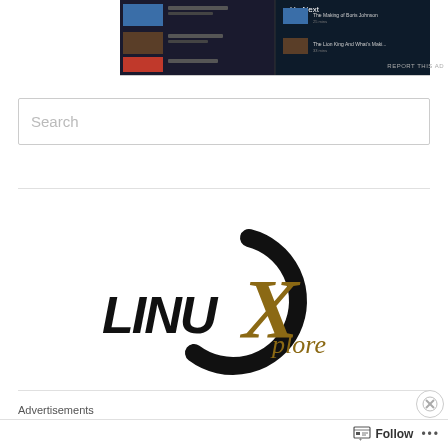[Figure (screenshot): Screenshot of a video streaming app showing Up Next queue with episodes including The Making of Boris Johnson and The Lion King]
REPORT THIS AD
Search
[Figure (logo): LINUXplore logo with stylized black LINU text and gold X with plore text and black circular arc]
Advertisements
[Figure (photo): Advertisement banner showing a woman with curly hair, VS logo, SHOP THE text, and SHOP button on pink background]
Follow